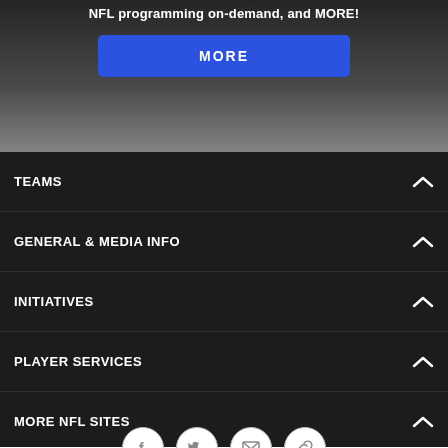NFL programming on-demand, and MORE!
[Figure (screenshot): Blue MORE button on dark gradient background]
TEAMS
GENERAL & MEDIA INFO
INITIATIVES
PLAYER SERVICES
MORE NFL SITES
Download Apps
[Figure (screenshot): App Store and Google Play download buttons]
[Figure (screenshot): Social media icons: Facebook, Twitter, Email, Link]